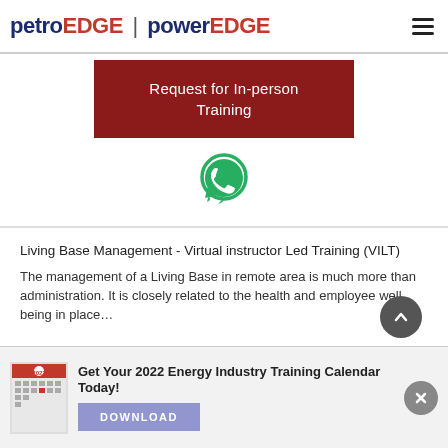petroEDGE | powerEDGE
[Figure (illustration): Red button labeled 'Request for In-person Training']
[Figure (illustration): WhatsApp icon (green circle with phone handset)]
Living Base Management - Virtual instructor Led Training (VILT)
The management of a Living Base in remote area is much more than administration. It is closely related to the health and employee well being in place...
[Figure (illustration): Popup: Get Your 2022 Energy Industry Training Calendar Today! with DOWNLOAD button and calendar thumbnail]
Get Your 2022 Energy Industry Training Calendar Today!